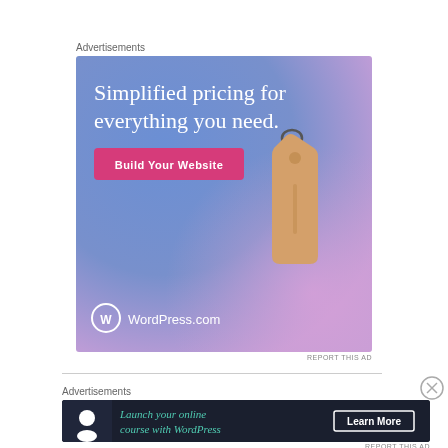Advertisements
[Figure (illustration): WordPress.com advertisement banner with gradient blue-to-pink background, price tag graphic, headline 'Simplified pricing for everything you need.', pink 'Build Your Website' button, and WordPress.com logo at bottom left.]
REPORT THIS AD
Advertisements
[Figure (illustration): WordPress.com advertisement banner on dark background with WordPress person-on-cloud icon, teal italic text 'Launch your online course with WordPress', and white-bordered 'Learn More' button.]
REPORT THIS AD